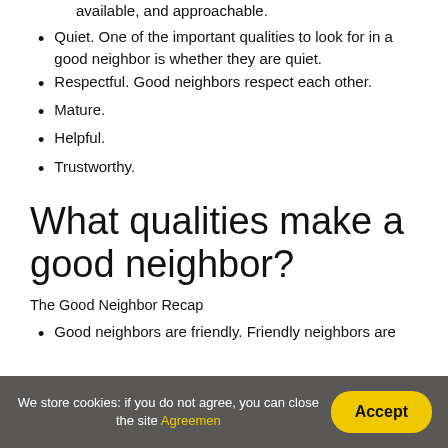available, and approachable.
Quiet. One of the important qualities to look for in a good neighbor is whether they are quiet.
Respectful. Good neighbors respect each other.
Mature.
Helpful.
Trustworthy.
What qualities make a good neighbor?
The Good Neighbor Recap
Good neighbors are friendly. Friendly neighbors are
We store cookies: if you do not agree, you can close the site Agreemen